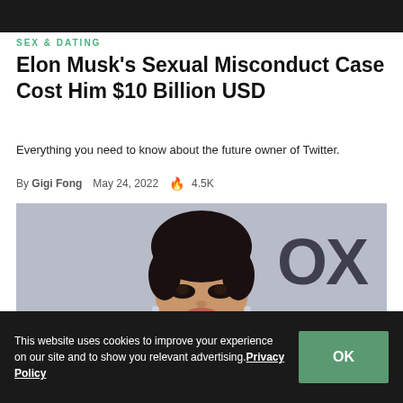[Figure (photo): Partial dark photo at the top of a person/background, cropped at top]
SEX & DATING
Elon Musk's Sexual Misconduct Case Cost Him $10 Billion USD
Everything you need to know about the future owner of Twitter.
By Gigi Fong  May 24, 2022  🔥 4.5K
[Figure (photo): Woman with short dark hair, heavy eye makeup, wearing blue/purple velvet jacket and diamond necklace, in front of FOX backdrop]
This website uses cookies to improve your experience on our site and to show you relevant advertising. Privacy Policy
OK